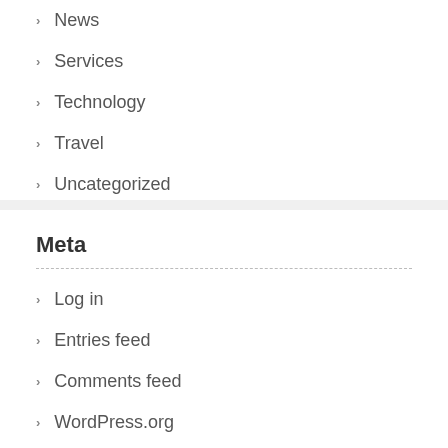News
Services
Technology
Travel
Uncategorized
Meta
Log in
Entries feed
Comments feed
WordPress.org